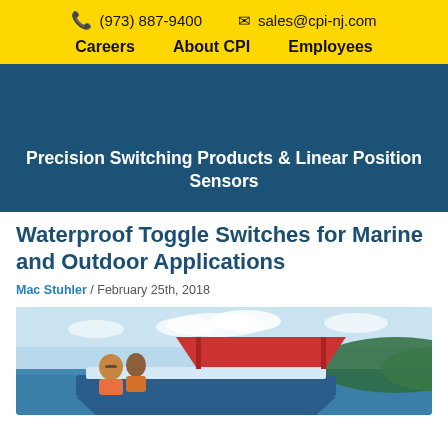(973) 887-9400  sales@cpi-nj.com  Careers  About CPI  Employees
Precision Switching Products & Linear Position Sensors
Waterproof Toggle Switches for Marine and Outdoor Applications
Mac Stuhler / February 25th, 2018
[Figure (photo): Two people on a boat on a lake or bay, with a red canopy and blue water in background]